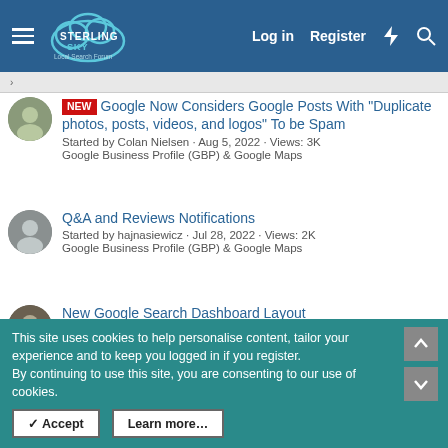Sterling Sky Local Search Forum — Log in | Register
NEW — Google Now Considers Google Posts With "Duplicate photos, posts, videos, and logos" To be Spam — Started by Colan Nielsen · Aug 5, 2022 · Views: 3K — Google Business Profile (GBP) & Google Maps
Q&A and Reviews Notifications — Started by hajnasiewicz · Jul 28, 2022 · Views: 2K — Google Business Profile (GBP) & Google Maps
New Google Search Dashboard Layout — Started by Professor M · Jul 28, 2022 · Views: 1K — Google Business Profile (GBP) & Google Maps
Competitors with False Addresses Keep Reappearing…
This site uses cookies to help personalise content, tailor your experience and to keep you logged in if you register. By continuing to use this site, you are consenting to our use of cookies.